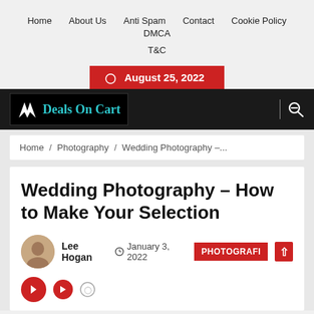Home  About Us  Anti Spam  Contact  Cookie Policy  DMCA  T&C
August 25, 2022
[Figure (logo): Deals On Cart logo with white wing icon on black background]
Home / Photography / Wedding Photography –...
Wedding Photography – How to Make Your Selection
Lee Hogan   January 3, 2022   PHOTOGRAPHY